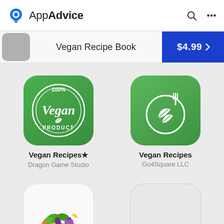AppAdvice
Vegan Recipe Book $4.99
[Figure (screenshot): App icon for Vegan Recipes by Dragon Game Studio — green rounded square with '100% Vegan Product' circular badge in white]
Vegan Recipes★
Dragon Game Studio
[Figure (screenshot): App icon for Vegan Recipes by Go4Square LLC — green rounded square with white fork and leaf design]
Vegan Recipes
Go4Square LLC
[Figure (screenshot): App icon for Vegan Recipes by Pankaj Singh — white rounded square with photo of vegetable basket]
Vegan Recipes
Pankaj Singh
[Figure (screenshot): App icon for Vegan Recipes+ by Amazing Hat LLC — empty light gray rounded square placeholder]
Vegan Recipes+
Amazing Hat LLC